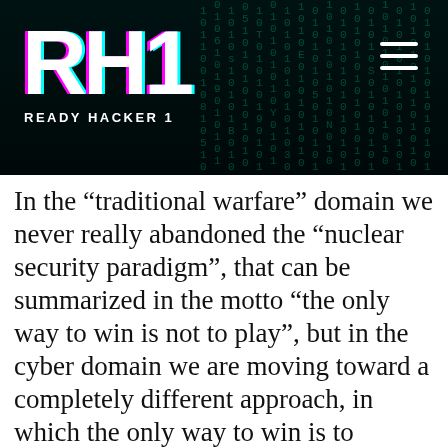[Figure (logo): Ready Hacker 1 logo: large white RH1 letters with cyan/pink glitch effect on a dark background with matrix-style digital rain. Hamburger menu icon in top right.]
In the “traditional warfare” domain we never really abandoned the “nuclear security paradigm”, that can be summarized in the motto “the only way to win is not to play”, but in the cyber domain we are moving toward a completely different approach, in which the only way to win is to “persistently engage the adversaries”. This persistent engagement’s ultimate goal is “to improve the security